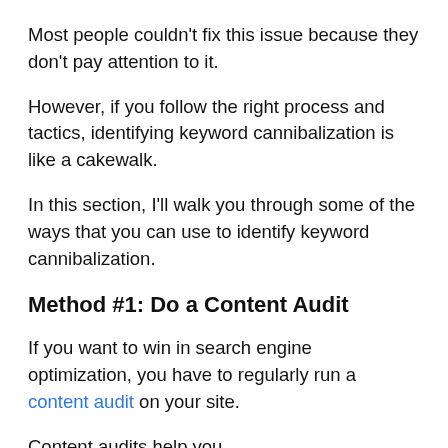Most people couldn't fix this issue because they don't pay attention to it.
However, if you follow the right process and tactics, identifying keyword cannibalization is like a cakewalk.
In this section, I'll walk you through some of the ways that you can use to identify keyword cannibalization.
Method #1: Do a Content Audit
If you want to win in search engine optimization, you have to regularly run a content audit on your site.
Content audits help you...